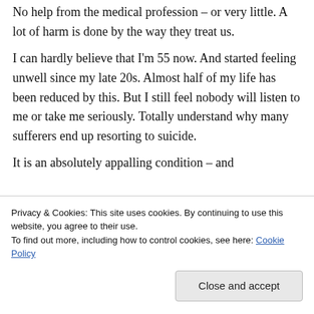No help from the medical profession – or very little. A lot of harm is done by the way they treat us.
I can hardly believe that I'm 55 now. And started feeling unwell since my late 20s. Almost half of my life has been reduced by this. But I still feel nobody will listen to me or take me seriously. Totally understand why many sufferers end up resorting to suicide.
It is an absolutely appalling condition – and
Privacy & Cookies: This site uses cookies. By continuing to use this website, you agree to their use.
To find out more, including how to control cookies, see here: Cookie Policy
Close and accept